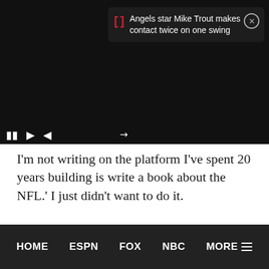[Figure (screenshot): Dark video player area with notification overlay showing Angels star Mike Trout story, and video playback controls]
I'm not writing on the platform I've spent 20 years building is write a book about the NFL.' I just didn't want to do it.
HOME   ESPN   FOX   NBC   MORE